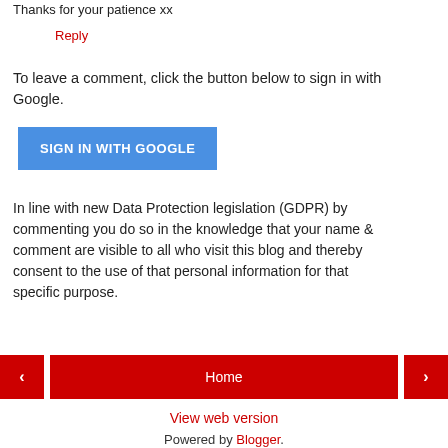Thanks for your patience xx
Reply
To leave a comment, click the button below to sign in with Google.
SIGN IN WITH GOOGLE
In line with new Data Protection legislation (GDPR) by commenting you do so in the knowledge that your name & comment are visible to all who visit this blog and thereby consent to the use of that personal information for that specific purpose.
Home
View web version
Powered by Blogger.